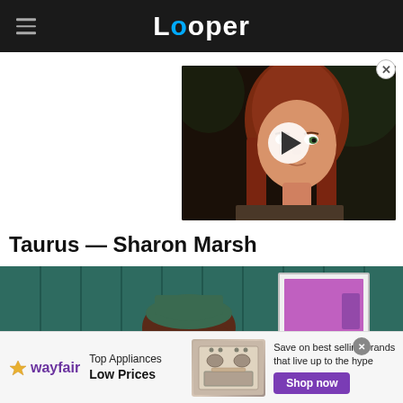Looper
[Figure (screenshot): Video thumbnail showing a red-haired woman with a play button overlay, from what appears to be a fantasy film or TV show]
Taurus — Sharon Marsh
[Figure (screenshot): Animated cartoon image of Sharon Marsh character from South Park, shown in front of a teal/green wooden wall background with a door visible on the right]
[Figure (other): Wayfair advertisement banner: Top Appliances Low Prices, Save on best selling brands that live up to the hype, Shop now button]